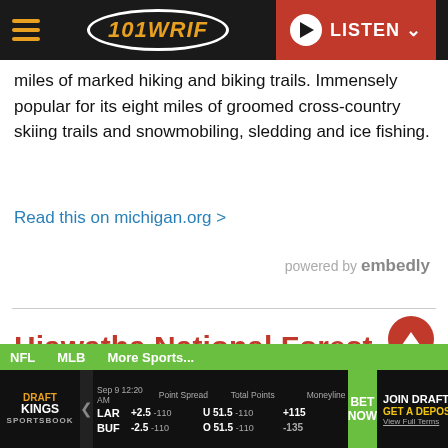101 WRIF — LISTEN
miles of marked hiking and biking trails. Immensely popular for its eight miles of groomed cross-country skiing trails and snowmobiling, sledding and ice fishing.
Read this on michigan.org >
powered by embedly
Hiawatha National Forest
NFL  MLB  More Sports...  DraftKings Sportsbook — LAR +2.5 -110, U 51.5 -110, +115 / BUF -2.5 -110, O 51.5 -110, -135 — JOIN DRAFTKINGS GET A DEPOSIT — BET NOW — View Full Terms